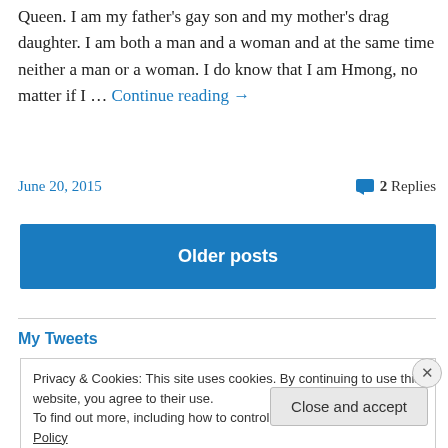Queen. I am my father's gay son and my mother's drag daughter. I am both a man and a woman and at the same time neither a man or a woman. I do know that I am Hmong, no matter if I … Continue reading →
June 20, 2015   2 Replies
Older posts
My Tweets
Privacy & Cookies: This site uses cookies. By continuing to use this website, you agree to their use.
To find out more, including how to control cookies, see here: Cookie Policy
Close and accept